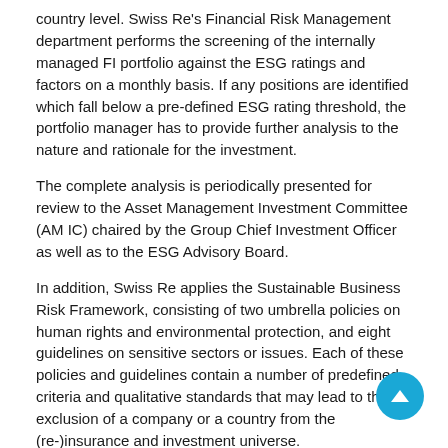country level. Swiss Re's Financial Risk Management department performs the screening of the internally managed FI portfolio against the ESG ratings and factors on a monthly basis. If any positions are identified which fall below a pre-defined ESG rating threshold, the portfolio manager has to provide further analysis to the nature and rationale for the investment.
The complete analysis is periodically presented for review to the Asset Management Investment Committee (AM IC) chaired by the Group Chief Investment Officer as well as to the ESG Advisory Board.
In addition, Swiss Re applies the Sustainable Business Risk Framework, consisting of two umbrella policies on human rights and environmental protection, and eight guidelines on sensitive sectors or issues. Each of these policies and guidelines contain a number of predefined criteria and qualitative standards that may lead to the exclusion of a company or a country from the (re-)insurance and investment universe.
01.3. 투자전략 [기후]
In addition to the general framework described above, Swiss Re has incorporated ESG considerations as an integral part of its investment process and continues to actively invest in themes that are directly related to sustainability.